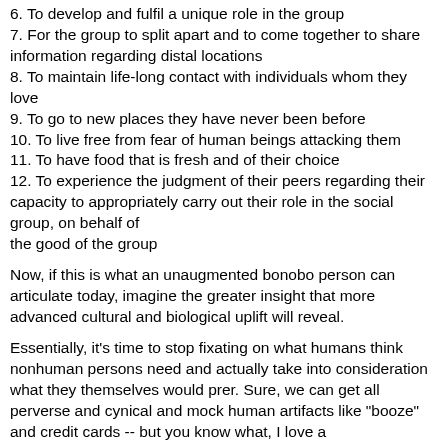6. To develop and fulfil a unique role in the group
7. For the group to split apart and to come together to share information regarding distal locations
8. To maintain life-long contact with individuals whom they love
9. To go to new places they have never been before
10. To live free from fear of human beings attacking them
11. To have food that is fresh and of their choice
12. To experience the judgment of their peers regarding their capacity to appropriately carry out their role in the social group, on behalf of the good of the group
Now, if this is what an unaugmented bonobo person can articulate today, imagine the greater insight that more advanced cultural and biological uplift will reveal.
Essentially, it's time to stop fixating on what humans think nonhuman persons need and actually take into consideration what they themselves would prer. Sure, we can get all perverse and cynical and mock human artifacts like "booze" and credit cards -- but you know what, I love a